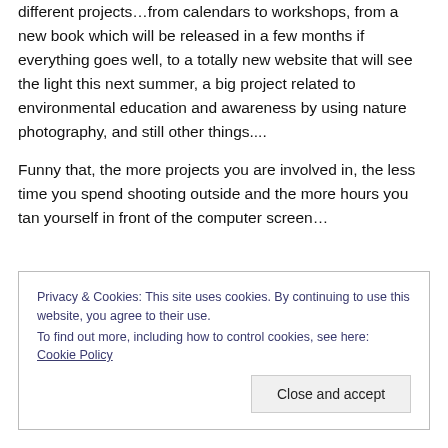different projects…from calendars to workshops, from a new book which will be released in a few months if everything goes well, to a totally new website that will see the light this next summer, a big project related to environmental education and awareness by using nature photography, and still other things....
Funny that, the more projects you are involved in, the less time you spend shooting outside and the more hours you tan yourself in front of the computer screen…
Privacy & Cookies: This site uses cookies. By continuing to use this website, you agree to their use. To find out more, including how to control cookies, see here: Cookie Policy